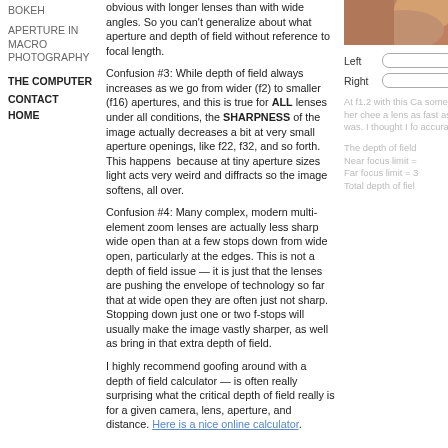BOKEH
APERTURE IN MACRO PHOTOGRAPHY
THE COMPUTER
CONTACT
HOME
[Figure (photo): Close-up photo of a person, partially cropped on the right side of the page]
obvious with longer lenses than with wide angles. So you can't generalize about what aperture and depth of field without reference to focal length.
Confusion #3: While depth of field always increases as we go from wider (f2) to smaller (f16) apertures, and this is true for ALL lenses under all conditions, the SHARPNESS of the image actually decreases a bit at very small aperture openings, like f22, f32, and so forth. This happens because at tiny aperture sizes light acts very weird and diffracts so the image softens, all over.
Confusion #4: Many complex, modern multi-element zoom lenses are actually less sharp wide open than at a few stops down from wide open, particularly at the edges. This is not a depth of field issue — it is just that the lenses are pushing the envelope of technology so far that at wide open they are often just not sharp. Stopping down just one or two f-stops will usually make the image vastly sharper, as well as bring in that extra depth of field.
I highly recommend goofing around with a depth of field calculator — is often really surprising what the critical depth of field really is for a given camera, lens, aperture, and distance. Here is a nice online calculator.
At f1.2 with this Ca some of her chee a lens as fast as a was. I thought I fo accurate.
The depth of field Near focus limit = Far focus limit = 3 Total depth of fiel